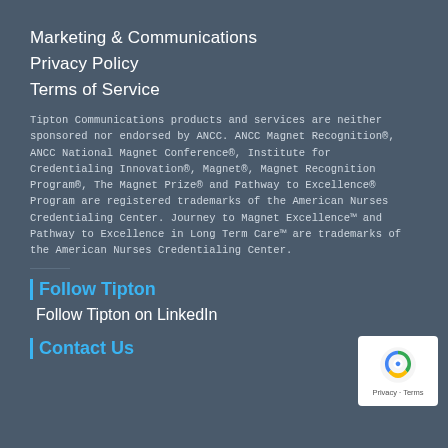Marketing & Communications
Privacy Policy
Terms of Service
Tipton Communications products and services are neither sponsored nor endorsed by ANCC. ANCC Magnet Recognition®, ANCC National Magnet Conference®, Institute for Credentialing Innovation®, Magnet®, Magnet Recognition Program®, The Magnet Prize® and Pathway to Excellence® Program are registered trademarks of the American Nurses Credentialing Center. Journey to Magnet Excellence™ and Pathway to Excellence in Long Term Care™ are trademarks of the American Nurses Credentialing Center.
Follow Tipton
Follow Tipton on LinkedIn
Contact Us
[Figure (logo): reCAPTCHA badge with Privacy and Terms links]